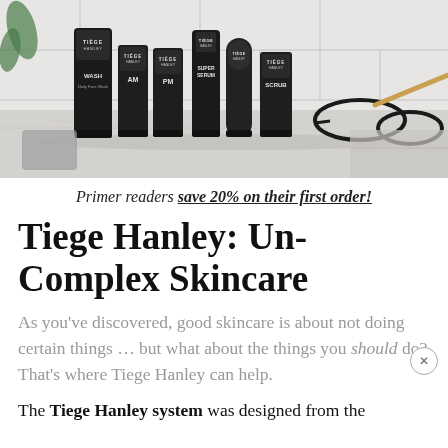[Figure (photo): Product photo of Tiege Hanley skincare line — several black tubes and bottles of varying sizes arranged on a white marble countertop, with glasses and a phone partially visible. White subway tile wall in background.]
Primer readers save 20% on their first order!
Tiege Hanley: Un-Complex Skincare
As you've discovered, good skincare is about not doing certain things … but what about the things you should do? That's where Tiege Hanley can help.
The Tiege Hanley system was designed from the